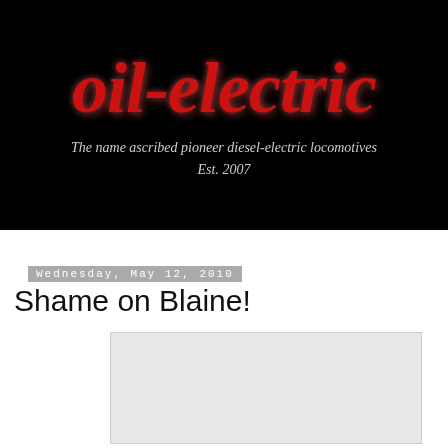[Figure (logo): oil-electric blog header banner. Black background with large red bold italic text reading 'oil-electric'. Below, italic gray text: 'The name ascribed pioneer diesel-electric locomotives'. Below that: 'Est. 2007'.]
Wednesday, May 12, 2010
Shame on Blaine!
[Figure (photo): Partially visible image placeholder with light gray background, cropped at bottom of page.]